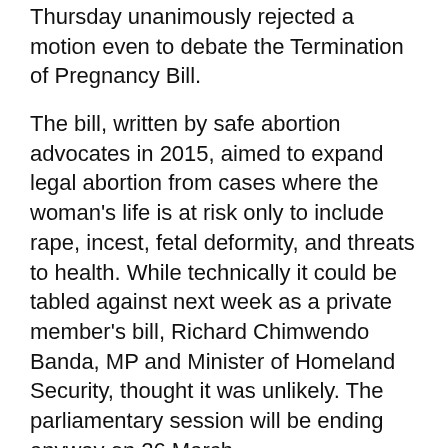Thursday unanimously rejected a motion even to debate the Termination of Pregnancy Bill.
The bill, written by safe abortion advocates in 2015, aimed to expand legal abortion from cases where the woman's life is at risk only to include rape, incest, fetal deformity, and threats to health. While technically it could be tabled against next week as a private member's bill, Richard Chimwendo Banda, MP and Minister of Homeland Security, thought it was unlikely. The parliamentary session will be ending anyway on 26 March.
As has been reported many times, there are more than 140,000 backstreet abortions annually in Malawi that cause some 12,000 deaths, according to a joint study by Malawi's College of Medicine and the Guttmacher Institute.